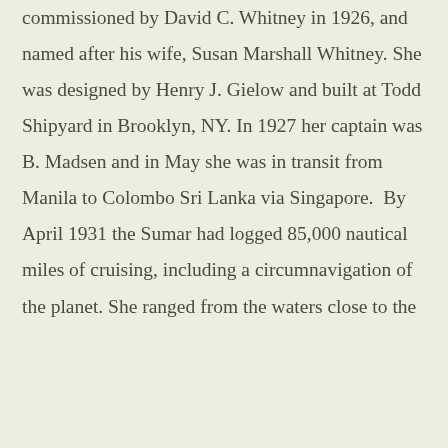commissioned by David C. Whitney in 1926, and named after his wife, Susan Marshall Whitney. She was designed by Henry J. Gielow and built at Todd Shipyard in Brooklyn, NY. In 1927 her captain was B. Madsen and in May she was in transit from Manila to Colombo Sri Lanka via Singapore.  By April 1931 the Sumar had logged 85,000 nautical miles of cruising, including a circumnavigation of the planet. She ranged from the waters close to the